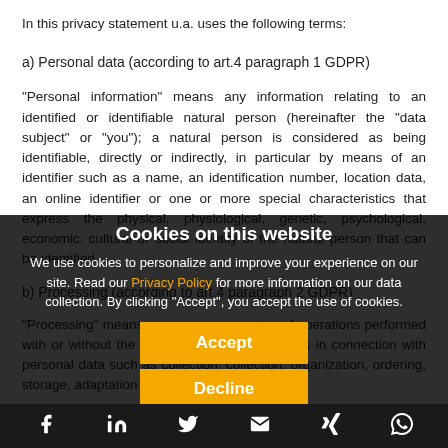In this privacy statement u.a. uses the following terms:
a) Personal data (according to art.4 paragraph 1 GDPR)
"Personal information" means any information relating to an identified or identifiable natural person (hereinafter the "data subject" or "you"); a natural person is considered as being identifiable, directly or indirectly, in particular by means of an identifier such as a name, an identification number, location data, an online identifier or one or more special characteristics that express the physical, physiological, genetic, psychological, economic, cultural or social identity of the natural person that can be identified.
b) Processing (according to art.4 paragraph 2 GDPR)
"Processing" means any process or series of operations performed with or without the aid of automated processes in connection with personal data such as collection, collection, organization, ordering, storage, adaptation or modification, read-
Cookies on this website
We use cookies to personalize and improve your experience on our site. Read our Privacy Policy for more information on our data collection. By clicking "Accept", you accept the use of cookies.
Accept
Decline